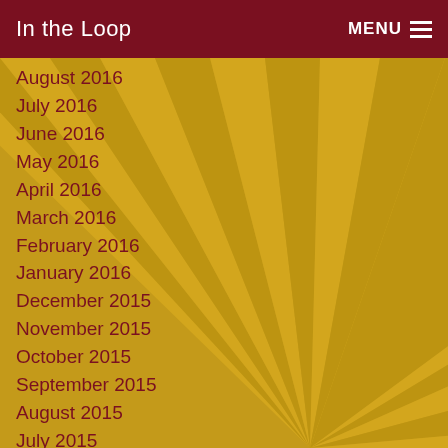In the Loop  MENU
August 2016
July 2016
June 2016
May 2016
April 2016
March 2016
February 2016
January 2016
December 2015
November 2015
October 2015
September 2015
August 2015
July 2015
June 2015
May 2015